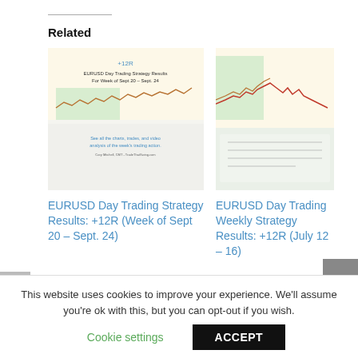Related
[Figure (screenshot): Screenshot of EURUSD Day Trading Strategy Results for Week of Sept 20 - Sept. 24, showing +12R headline and chart images with green/yellow sections and line chart]
EURUSD Day Trading Strategy Results: +12R (Week of Sept 20 – Sept. 24)
[Figure (screenshot): Screenshot of EURUSD Day Trading Weekly Strategy Results showing +12R for July 12-16, chart with colored sections and price line]
EURUSD Day Trading Weekly Strategy Results: +12R (July 12 – 16)
[Figure (screenshot): Screenshot of EURUSD trading chart showing price action with green/yellow sections and an upward trending line]
This website uses cookies to improve your experience. We'll assume you're ok with this, but you can opt-out if you wish.
Cookie settings
ACCEPT